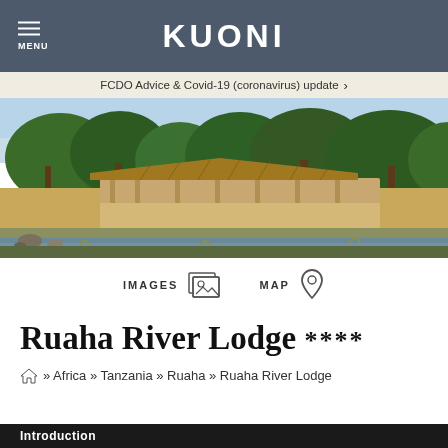KUONI
FCDO Advice & Covid-19 (coronavirus) update ›
[Figure (photo): Landscape photo of Ruaha River Lodge showing thatched-roof buildings surrounded by African savanna trees and a river in the foreground]
IMAGES   MAP
Ruaha River Lodge ****
⌂ » Africa » Tanzania » Ruaha » Ruaha River Lodge
Introduction